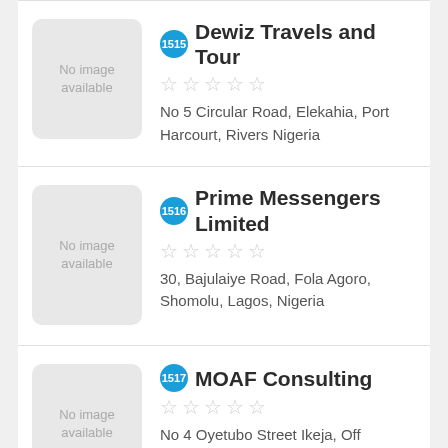1515 Dewiz Travels and Tour — No 5 Circular Road, Elekahia, Port Harcourt, Rivers Nigeria
1516 Prime Messengers Limited — 30, Bajulaiye Road, Fola Agoro, Shomolu, Lagos, Nigeria
1517 MOAF Consulting — No 4 Oyetubo Street Ikeja, Off Obafemi Awolowo Way, Ikeja,